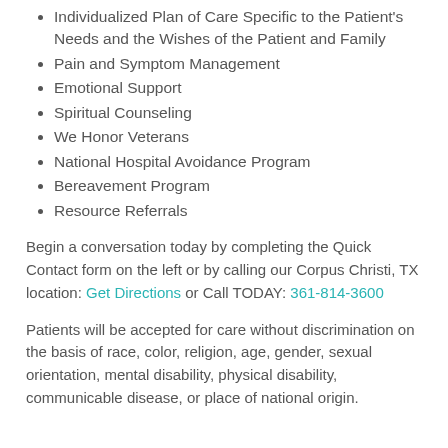Individualized Plan of Care Specific to the Patient's Needs and the Wishes of the Patient and Family
Pain and Symptom Management
Emotional Support
Spiritual Counseling
We Honor Veterans
National Hospital Avoidance Program
Bereavement Program
Resource Referrals
Begin a conversation today by completing the Quick Contact form on the left or by calling our Corpus Christi, TX location: Get Directions or Call TODAY: 361-814-3600
Patients will be accepted for care without discrimination on the basis of race, color, religion, age, gender, sexual orientation, mental disability, physical disability, communicable disease, or place of national origin.